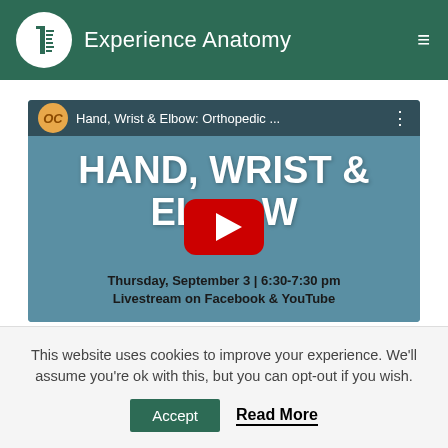Experience Anatomy
[Figure (screenshot): YouTube video thumbnail for 'Hand, Wrist & Elbow: Orthopedic ...' showing large bold white text 'HAND, WRIST & ELBOW' on a teal/blue background with a red YouTube play button in the center. Below the title: 'Thursday, September 3 | 6:30-7:30 pm Livestream on Facebook & YouTube']
This website uses cookies to improve your experience. We'll assume you're ok with this, but you can opt-out if you wish.
Accept  Read More